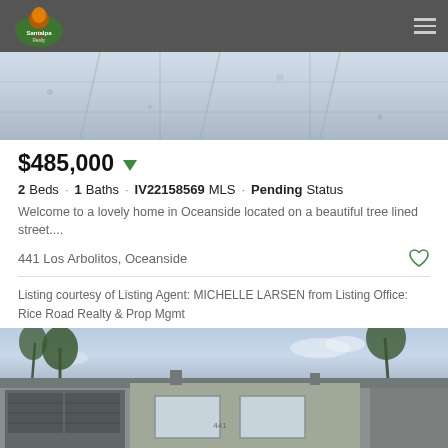[Figure (photo): Top aerial/roof photo of a property, showing concrete or snow-covered surface with utility lines]
$485,000
2 Beds · 1 Baths · IV22158569 MLS · Pending Status
Welcome to a lovely home in Oceanside located on a beautiful tree lined street....
441 Los Arbolitos, Oceanside
Listing courtesy of Listing Agent: MICHELLE LARSEN from Listing Office: Rice Road Realty & Prop Mgmt
[Figure (photo): Exterior front view of a single-story residential home with palm trees in the background and a blue sky]